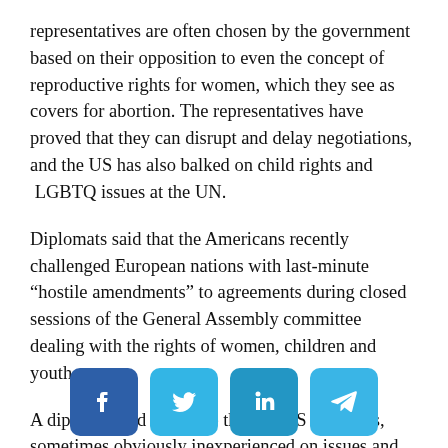representatives are often chosen by the government based on their opposition to even the concept of reproductive rights for women, which they see as covers for abortion. The representatives have proved that they can disrupt and delay negotiations, and the US has also balked on child rights and  LGBTQ issues at the UN.
Diplomats said that the Americans recently challenged European nations with last-minute “hostile amendments” to agreements during closed sessions of the General Assembly committee dealing with the rights of women, children and youth.
A diplomat told PassBlue that the US delegates, sometimes obviously inexperienced on issues and
[Figure (infographic): Social media sharing buttons: Facebook (dark blue), Twitter (light blue), LinkedIn (medium blue), Telegram (light blue)]